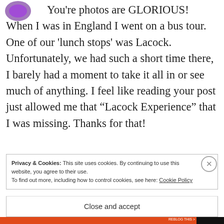You're photos are GLORIOUS! When I was in England I went on a bus tour. One of our 'lunch stops' was Lacock. Unfortunately, we had such a short time there, I barely had a moment to take it all in or see much of anything. I feel like reading your post just allowed me that “Lacock Experience” that I was missing. Thanks for that!
Privacy & Cookies: This site uses cookies. By continuing to use this website, you agree to their use.
To find out more, including how to control cookies, see here: Cookie Policy
Close and accept